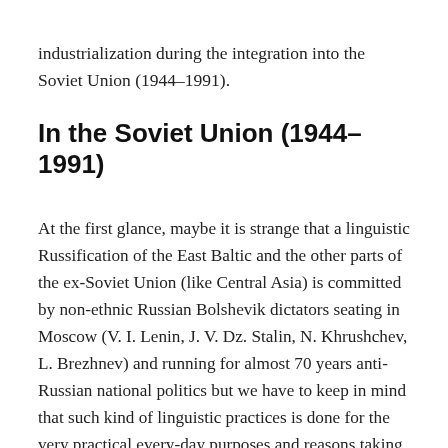industrialization during the integration into the Soviet Union (1944–1991).
In the Soviet Union (1944–1991)
At the first glance, maybe it is strange that a linguistic Russification of the East Baltic and the other parts of the ex-Soviet Union (like Central Asia) is committed by non-ethnic Russian Bolshevik dictators seating in Moscow (V. I. Lenin, J. V. Dz. Stalin, N. Khrushchev, L. Brezhnev) and running for almost 70 years anti-Russian national politics but we have to keep in mind that such kind of linguistic practices is done for the very practical every-day purposes and reasons taking the West European patterns and experience of the Englishization of Great Britain, Australia, New Zealand, the biggest part of Canada and the USA, the